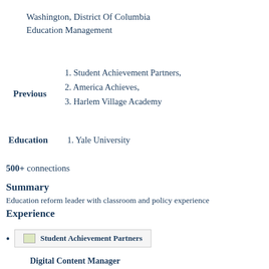Washington, District Of Columbia
Education Management
Previous
1. Student Achievement Partners,
2. America Achieves,
3. Harlem Village Academy
Education
1. Yale University
500+ connections
Summary
Education reform leader with classroom and policy experience
Experience
Student Achievement Partners
Digital Content Manager